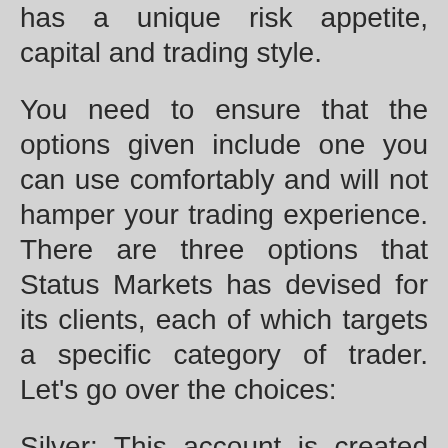has a unique risk appetite, capital and trading style.
You need to ensure that the options given include one you can use comfortably and will not hamper your trading experience. There are three options that Status Markets has devised for its clients, each of which targets a specific category of trader. Let’s go over the choices:
Silver: This account is created by Status Markets for amateur traders with no prior experience in trading. The leverage offered is different for every market like you can get